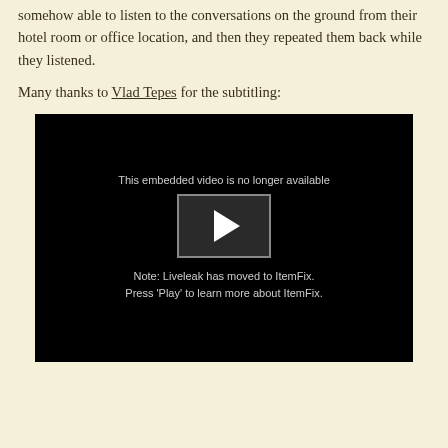somehow able to listen to the conversations on the ground from their hotel room or office location, and then they repeated them back while they listened.
Many thanks to Vlad Tepes for the subtitling:
[Figure (other): Embedded video player (black background) showing message 'This embedded video is no longer available' with a play button, and notes: 'Note: Liveleak has moved to ItemFix. Press Play to learn more about ItemFix.']